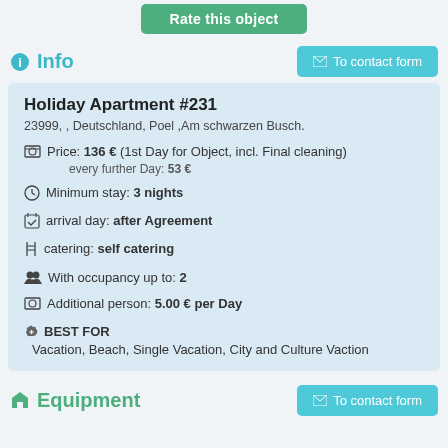[Figure (other): Green 'Rate this object' button at top center]
Info
Holiday Apartment #231
23999, , Deutschland, Poel ,Am schwarzen Busch.
Price: 136 € (1st Day for Object, incl. Final cleaning) every further Day: 53 €
Minimum stay: 3 nights
arrival day: after Agreement
catering: self catering
With occupancy up to: 2
Additional person: 5.00 € per Day
BEST FOR
Vacation, Beach, Single Vacation, City and Culture Vaction
Equipment